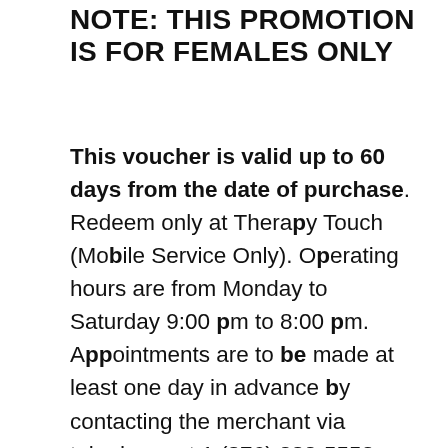NOTE: THIS PROMOTION IS FOR FEMALES ONLY
This voucher is valid up to 60 days from the date of purchase. Redeem only at Therapy Touch (Mobile Service Only). Operating hours are from Monday to Saturday 9:00 pm to 8:00 pm. Appointments are to be made at least one day in advance by contacting the merchant via telephone at 1 (876) 282-5553 (bookings are to be made at least 1 day in advance). All Taxes Included. Print your Brawta Living voucher or show your coupon code on your smart phone. Cannot be combined with any other offer or promotion. Merchant is solely responsible to purchasers for the care and quality of the advertised goods and